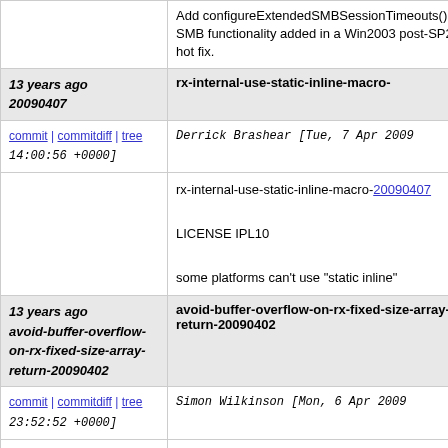|  | Add configureExtendedSMBSessionTimeouts() wh SMB functionality added in a Win2003 post-SP2 hot fix. |
| 13 years ago 20090407 | rx-internal-use-static-inline-macro- |
| commit | commitdiff | tree 14:00:56 +0000] | Derrick Brashear [Tue, 7 Apr 2009 |
|  | rx-internal-use-static-inline-macro-20090407

LICENSE IPL10

some platforms can't use "static inline" |
| 13 years ago avoid-buffer-overflow-on-rx-fixed-size-array-return-20090402 | avoid-buffer-overflow-on-rx-fixed-size-array-return-20090402 |
| commit | commitdiff | tree 23:52:52 +0000] | Simon Wilkinson [Mon, 6 Apr 2009 |
|  | avoid-buffer-overflow-on-rx-fixed-size-array-return-20090402

LICENSE IPL10
FIXES 124579 |